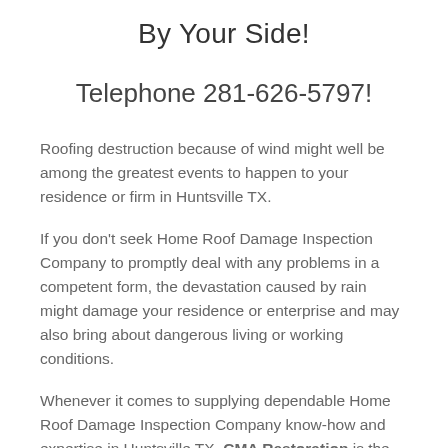By Your Side!
Telephone 281-626-5797!
Roofing destruction because of wind might well be among the greatest events to happen to your residence or firm in Huntsville TX.
If you don't seek Home Roof Damage Inspection Company to promptly deal with any problems in a competent form, the devastation caused by rain might damage your residence or enterprise and may also bring about dangerous living or working conditions.
Whenever it comes to supplying dependable Home Roof Damage Inspection Company know-how and expertise in Huntsville TX, CMA Restoration is the